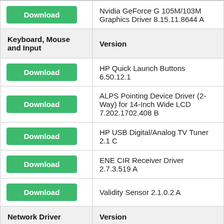| Action | Description |
| --- | --- |
| Download | Nvidia GeForce G 105M/103M Graphics Driver 8.15.11.8644 A |
| Keyboard, Mouse and Input | Version |
| Download | HP Quick Launch Buttons 6.50.12.1 |
| Download | ALPS Pointing Device Driver (2-Way) for 14-Inch Wide LCD 7.202.1702.408 B |
| Download | HP USB Digital/Analog TV Tuner 2.1 C |
| Download | ENE CIR Receiver Driver 2.7.3.519 A |
| Download | Validity Sensor 2.1.0.2 A |
| Network Driver | Version |
| Download | Atheros 2011 Wireless LAN Driver... |